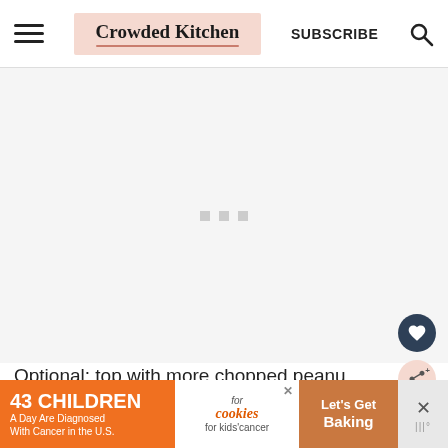Crowded Kitchen | SUBSCRIBE
[Figure (other): Blank gray advertisement placeholder area with three small gray squares in the center]
Optional: top with more chopped peanu
Return to freezer until chocolate hardens
[Figure (other): Bottom banner advertisement: '43 CHILDREN A Day Are Diagnosed With Cancer in the U.S.' with cookies for kids cancer logo and 'Let's Get Baking' text]